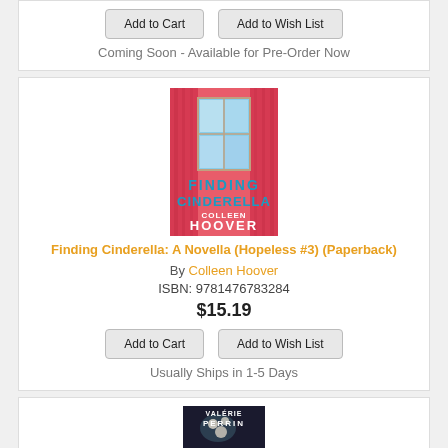Add to Cart   Add to Wish List
Coming Soon - Available for Pre-Order Now
[Figure (illustration): Book cover of 'Finding Cinderella' by Colleen Hoover - pink/red background with curtains and window, teal title text, white author name]
Finding Cinderella: A Novella (Hopeless #3) (Paperback)
By Colleen Hoover
ISBN: 9781476783284
$15.19
Add to Cart   Add to Wish List
Usually Ships in 1-5 Days
[Figure (illustration): Partial book cover visible at bottom - appears to be by Valérie Perrin, dark background with flowers]